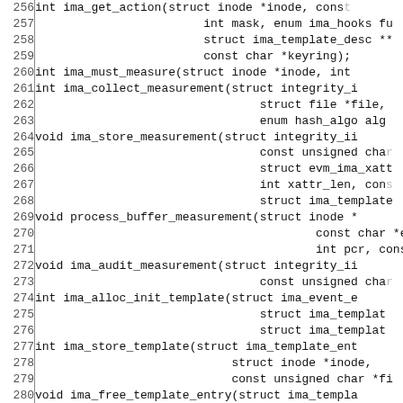C source code listing lines 256-285, showing function declarations for IMA (Integrity Measurement Architecture) kernel functions including ima_get_action, ima_must_measure, ima_collect_measurement, ima_store_measurement, process_buffer_measurement, ima_audit_measurement, ima_alloc_init_template, ima_store_template, ima_free_template_entry, ima_d_path, and ima_match_policy.